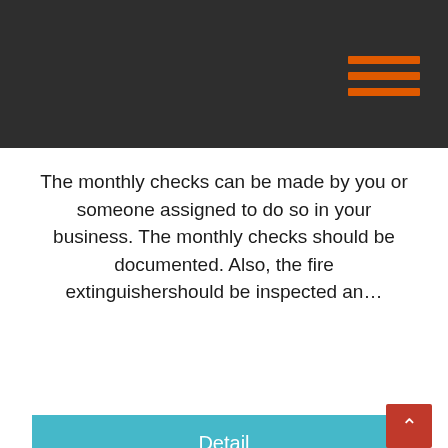The monthly checks can be made by you or someone assigned to do so in your business. The monthly checks should be documented. Also, the fire extinguishershould be inspected an…
Detail
[Figure (photo): Network diagram showing interconnected gray nodes linked by lines against a light gray background]